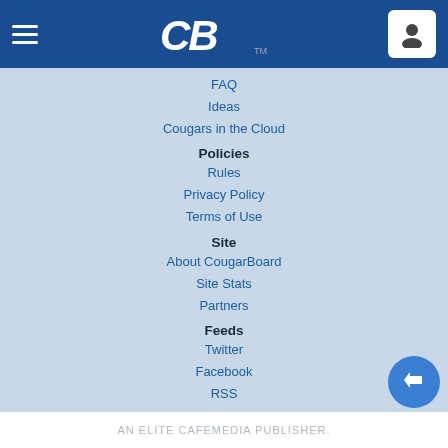CB (CougarBoard logo)
FAQ
Ideas
Cougars in the Cloud
Policies
Rules
Privacy Policy
Terms of Use
Site
About CougarBoard
Site Stats
Partners
Feeds
Twitter
Facebook
RSS
Copyright
DMCA Registered Agent
Credits
This site is not affiliated with Brigham Young University Athletics. All posts are copyrighted by their author. All other content is ©1999-2022 SM Group, LLC.
AN ELITE CAFEMEDIA PUBLISHER.